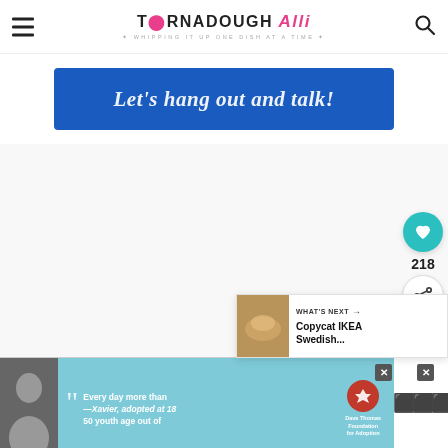TORNADOUGH Alli — Whipping it up one dish at a time
[Figure (screenshot): Blue banner with white italic text reading 'Let's hang out and talk!']
[Figure (infographic): Teal circular heart/like button with count 218 and share button below]
[Figure (infographic): What's Next card showing thumbnail of food and text 'Copycat IKEA Swedish...']
[Figure (screenshot): Advertisement banner at bottom: Dave Thomas Foundation for Adoption with quote 'Every day more than —Xavier, adopted at 18 50 youth age out of']